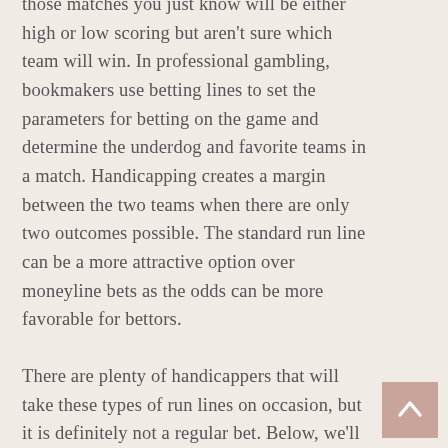those matches you just know will be either high or low scoring but aren't sure which team will win. In professional gambling, bookmakers use betting lines to set the parameters for betting on the game and determine the underdog and favorite teams in a match. Handicapping creates a margin between the two teams when there are only two outcomes possible. The standard run line can be a more attractive option over moneyline bets as the odds can be more favorable for bettors.
There are plenty of handicappers that will take these types of run lines on occasion, but it is definitely not a regular bet. Below, we'll tell you all you need to know about how to bet on run